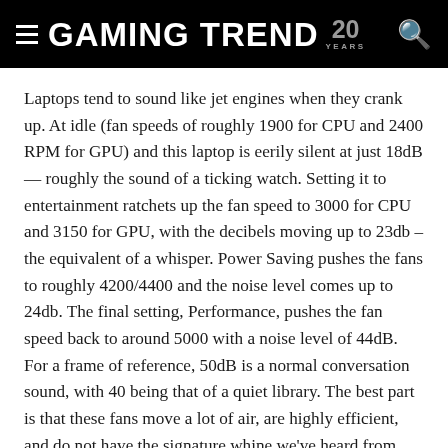GAMING TREND 20 YEARS
Laptops tend to sound like jet engines when they crank up. At idle (fan speeds of roughly 1900 for CPU and 2400 RPM for GPU) and this laptop is eerily silent at just 18dB — roughly the sound of a ticking watch. Setting it to entertainment ratchets up the fan speed to 3000 for CPU and 3150 for GPU, with the decibels moving up to 23db – the equivalent of a whisper. Power Saving pushes the fans to roughly 4200/4400 and the noise level comes up to 24db. The final setting, Performance, pushes the fan speed back to around 5000 with a noise level of 44dB. For a frame of reference, 50dB is a normal conversation sound, with 40 being that of a quiet library. The best part is that these fans move a lot of air, are highly efficient, and do not have the signature whine we've heard from previous generations of laptops.